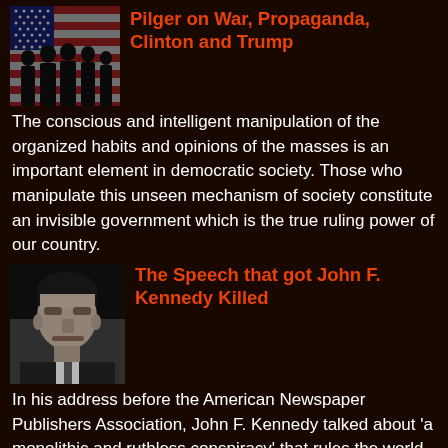[Figure (illustration): Silhouette of several people standing in front of an American flag background]
Pilger on War, Propaganda, Clinton and Trump
The conscious and intelligent manipulation of the organized habits and opinions of the masses is an important element in democratic society. Those who manipulate this unseen mechanism of society constitute an invisible government which is the true ruling power of our country.
[Figure (photo): Black and white photograph of John F. Kennedy]
The Speech that got John F. Kennedy Killed
In his address before the American Newspaper Publishers Association, John F. Kennedy talked about 'a monolithic and ruthless conspiracy' that rules the world. That speech was apparently the one that sealed his fate.